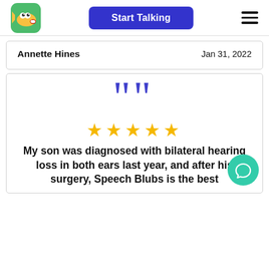[Figure (logo): Speech Blubs app logo: cartoon fish with eyes and open mouth on green background]
Start Talking
[Figure (other): Hamburger menu icon (three horizontal lines)]
Annette Hines
Jan 31, 2022
[Figure (other): Large blue open quotation marks]
[Figure (other): Five gold stars rating]
My son was diagnosed with bilateral hearing loss in both ears last year, and after his surgery, Speech Blubs is the best